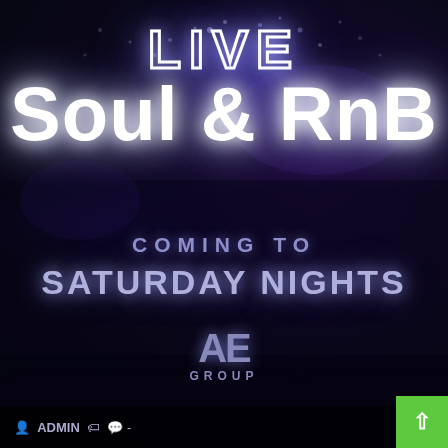[Figure (illustration): Dark concert/club background with purple and dark blue tones, paint splash texture, showing dimly lit venue with people and equipment]
LIVE Soul & RnB COMING TO SATURDAY NIGHTS
[Figure (logo): AE GROUP logo in purple/lavender color]
ADMIN -